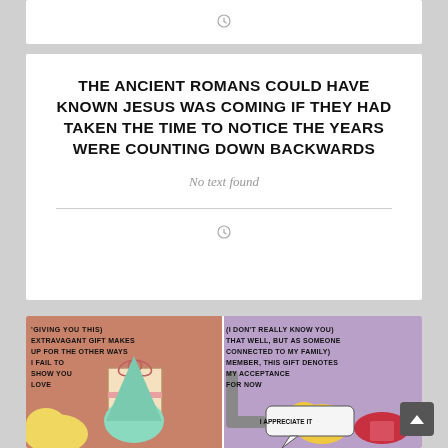[Figure (other): Partial white card at top of page with a small clock/time icon centered]
THE ANCIENT ROMANS COULD HAVE KNOWN JESUS WAS COMING IF THEY HAD TAKEN THE TIME TO NOTICE THE YEARS WERE COUNTING DOWN BACKWARDS
No text found
[Figure (other): Small clock/time icon below the horizontal divider line]
[Figure (illustration): Comic illustration showing two panels: left panel has text 'GIVING YOU THIS EXTRAVAGANT GIFT MAKES UP FOR THE OTHER WAYS I FAIL TO SHOW YOU LOVE' with a character holding a gift; right panel has text 'I DON'T REALLY KNOW YOU THAT WELL, BUT AS SOMEONE CONNECTED TO MY FAMILY MEMBER, THIS GIFT DENOTES MY ACCEPTANCE FOR NOW' with another character responding 'I APPRECIATE IT']